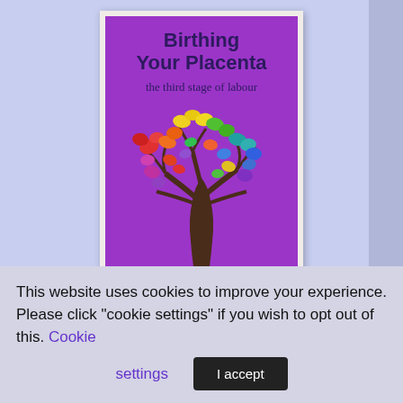[Figure (illustration): Book cover for 'Birthing Your Placenta: the third stage of labour' by Dr Nadine Edwards and Dr Sara Wickham. Purple cover with a colorful tree illustration. Shown as a book with white border against a light blue/periwinkle background.]
The fourth edition of a popular
This website uses cookies to improve your experience. Please click "cookie settings" if you wish to opt out of this. Cookie settings I accept